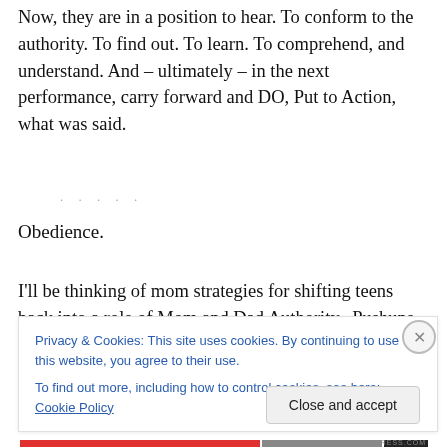Now, they are in a position to hear. To conform to the authority. To find out. To learn. To comprehend, and understand. And – ultimately – in the next performance, carry forward and DO, Put to Action, what was said.
Obedience.
I'll be thinking of mom strategies for shifting teens  back into a role of Mom and Dad Authority.  Pushups seem to
Privacy & Cookies: This site uses cookies. By continuing to use this website, you agree to their use.
To find out more, including how to control cookies, see here: Cookie Policy